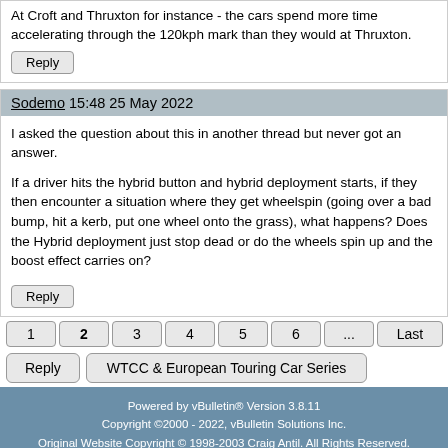At Croft and Thruxton for instance - the cars spend more time accelerating through the 120kph mark than they would at Thruxton.
Reply
Sodemo 15:48 25 May 2022
I asked the question about this in another thread but never got an answer.

If a driver hits the hybrid button and hybrid deployment starts, if they then encounter a situation where they get wheelspin (going over a bad bump, hit a kerb, put one wheel onto the grass), what happens? Does the Hybrid deployment just stop dead or do the wheels spin up and the boost effect carries on?
Reply
1  2  3  4  5  6  ...  Last
Reply   WTCC & European Touring Car Series
Powered by vBulletin® Version 3.8.11
Copyright ©2000 - 2022, vBulletin Solutions Inc.
Original Website Copyright © 1998-2003 Craig Antil. All Rights Reserved.
Ten-Tenths Motorsport Forums Copyright © 2004-2021 Royalridge Computing. All Rights Reserved.
Ten-Tenths Motorsport Forums Copyright © 2021-2022 Grant MacDonald. All Rights Reserved.
Lightweight Styling © Dartho